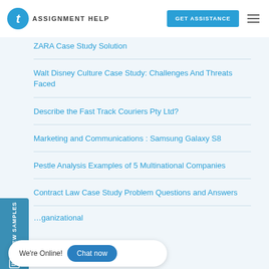TAssignmentHelp | GET ASSISTANCE
ZARA Case Study Solution
Walt Disney Culture Case Study: Challenges And Threats Faced
Describe the Fast Track Couriers Pty Ltd?
Marketing and Communications : Samsung Galaxy S8
Pestle Analysis Examples of 5 Multinational Companies
Contract Law Case Study Problem Questions and Answers
…organizational
We're Online! Chat now